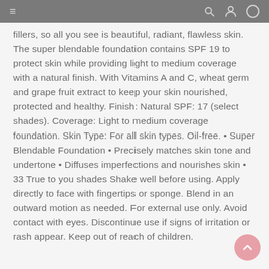≡ [search icon] [user icon] [circle icon]
fillers, so all you see is beautiful, radiant, flawless skin. The super blendable foundation contains SPF 19 to protect skin while providing light to medium coverage with a natural finish. With Vitamins A and C, wheat germ and grape fruit extract to keep your skin nourished, protected and healthy. Finish: Natural SPF: 17 (select shades). Coverage: Light to medium coverage foundation. Skin Type: For all skin types. Oil-free. • Super Blendable Foundation • Precisely matches skin tone and undertone • Diffuses imperfections and nourishes skin • 33 True to you shades Shake well before using. Apply directly to face with fingertips or sponge. Blend in an outward motion as needed. For external use only. Avoid contact with eyes. Discontinue use if signs of irritation or rash appear. Keep out of reach of children.